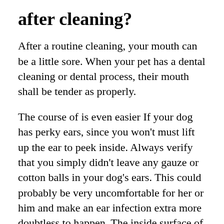after cleaning?
After a routine cleaning, your mouth can be a little sore. When your pet has a dental cleaning or dental process, their mouth shall be tender as properly.
The course of is even easier If your dog has perky ears, since you won’t must lift up the ear to peek inside. Always verify that you simply didn’t leave any gauze or cotton balls in your dog’s ears. This could probably be very uncomfortable for her or him and make an ear infection extra more doubtless to happen. The inside surface of the dog’s ear flap can get dirty, too. Once the